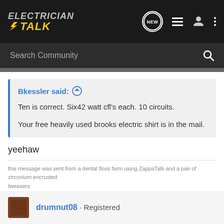ELECTRICIAN TALK
Search Community
Bkessler said: ↑
Ten is correct. Six42 watt cfl's each. 10 circuits.

Your free heavily used brooks electric shirt is in the mail.
yeehaw
this message was sent from a dental floss farm using ZappaTalk and a pair of zirconium encrusted tweasers
Reply  Quote
drumnut08 · Registered